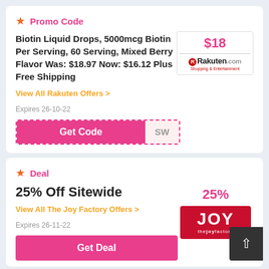Promo Code
Biotin Liquid Drops, 5000mcg Biotin Per Serving, 60 Serving, Mixed Berry Flavor Was: $18.97 Now: $16.12 Plus Free Shipping
$18 | Rakuten.com Shopping & Entertainment
View All Rakuten Offers >
Expires 26-10-22
Get Code SW
Deal
25% Off Sitewide
View All The Joy Factory Offers >
Expires 26-11-22
25% | JOY the joy factory
Get Deal